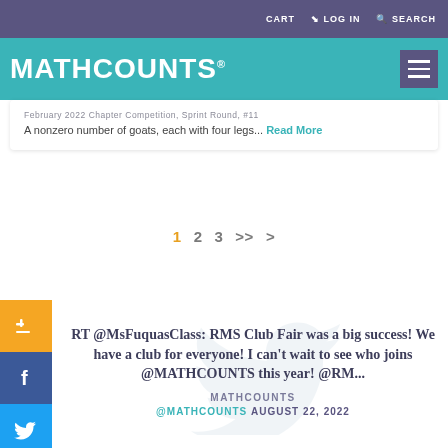CART  LOG IN  SEARCH
[Figure (logo): MATHCOUNTS logo in white text on teal header bar with hamburger menu]
February 2022 Chapter Competition, Sprint Round, #11 A nonzero number of goats, each with four legs... Read More
1  2  3  >>  >
[Figure (screenshot): Twitter post: RT @MsFuquasClass: RMS Club Fair was a big success! We have a club for everyone! I can't wait to see who joins @MATHCOUNTS this year! @RM... — MATHCOUNTS @MATHCOUNTS AUGUST 22, 2022]